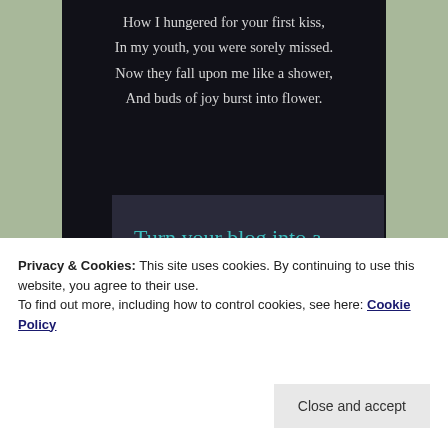How I hungered for your first kiss,
In my youth, you were sorely missed.
Now they fall upon me like a shower,
And buds of joy burst into flower.
[Figure (infographic): Dark advertisement box with teal text reading 'Turn your blog into a money-making online course.' with a teal 'Learn More' button]
Privacy & Cookies: This site uses cookies. By continuing to use this website, you agree to their use.
To find out more, including how to control cookies, see here: Cookie Policy
Close and accept